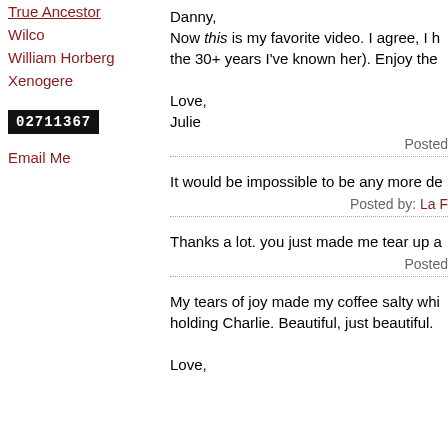True Ancestor
Wilco
William Horberg
Xenogere
02711367
Email Me
Danny,
Now this is my favorite video. I agree, I h... the 30+ years I've known her). Enjoy the...

Love,
Julie
Posted
It would be impossible to be any more de...
Posted by: La F...
Thanks a lot. you just made me tear up a...
Posted
My tears of joy made my coffee salty whi... holding Charlie. Beautiful, just beautiful.

Love,